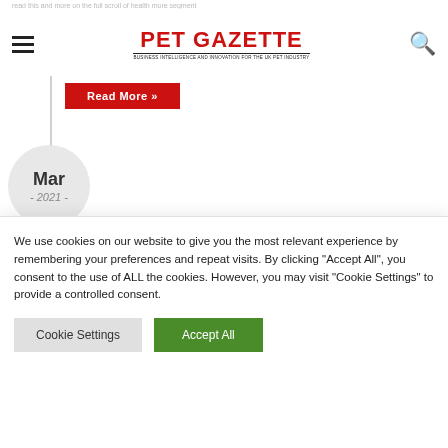PET GAZETTE
Read More »
Mar - 2021 -
29 March
[Figure (photo): Paleo Ridge pet food product bag with Union Jack flag design on green packaging]
We use cookies on our website to give you the most relevant experience by remembering your preferences and repeat visits. By clicking "Accept All", you consent to the use of ALL the cookies. However, you may visit "Cookie Settings" to provide a controlled consent.
Cookie Settings    Accept All